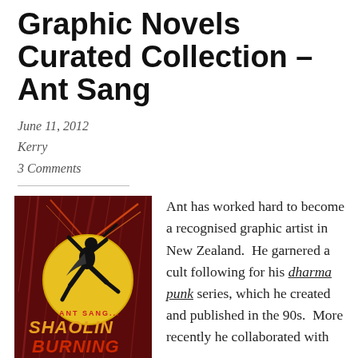Graphic Novels Curated Collection – Ant Sang
June 11, 2012
Kerry
3 Comments
[Figure (illustration): Book cover of 'Shaolin Burning' by Ant Sang — dark red background with a silhouetted figure mid-leap against a large yellow circle, with orange/red streaks; text reads 'ANT SANG... SHAOLIN BURNING' in stylized lettering]
Ant has worked hard to become a recognised graphic artist in New Zealand.  He garnered a cult following for his dharma punk series, which he created and published in the 90s.  More recently he collaborated with